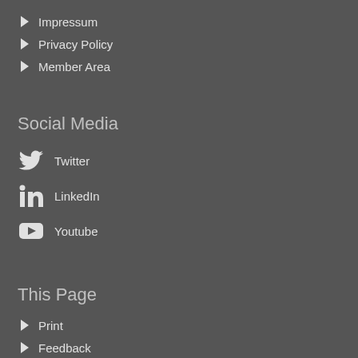Impressum
Privacy Policy
Member Area
Social Media
Twitter
LinkedIn
Youtube
This Page
Print
Feedback